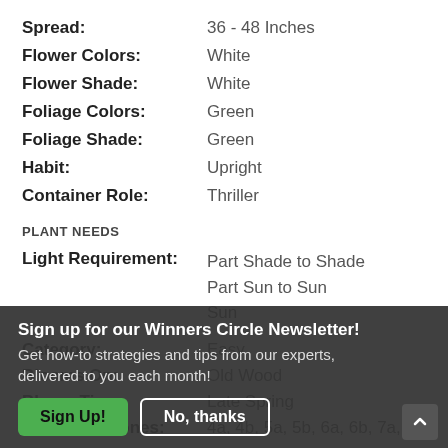Spread: 36 - 48 Inches
Flower Colors: White
Flower Shade: White
Foliage Colors: Green
Foliage Shade: Green
Habit: Upright
Container Role: Thriller
PLANT NEEDS
Light Requirement: Part Shade to Shade / Part Sun to Sun / Sun
Sign up for our Winners Circle Newsletter! Get how-to strategies and tips from our experts, delivered to you each month!
Category: Easy
Blooms On: Old Wood
Bloom Time: Late Spring
Hardiness Zones: 4a, 4b, 5a, 5b, 6a, 6b, 7a, 7b